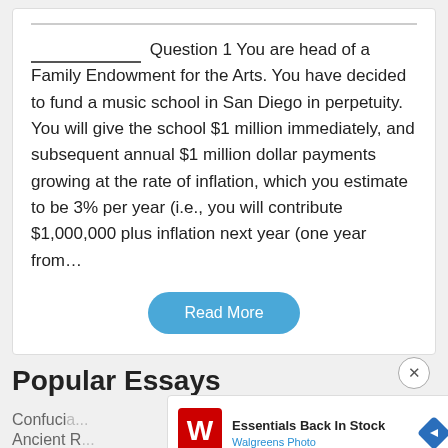______________  Question 1 You are head of a Family Endowment for the Arts. You have decided to fund a music school in San Diego in perpetuity. You will give the school $1 million immediately, and subsequent annual $1 million dollar payments growing at the rate of inflation, which you estimate to be 3% per year (i.e., you will contribute $1,000,000 plus inflation next year (one year from…
Read More
Popular Essays
Confuci...
Ancient R...
[Figure (infographic): Walgreens advertisement overlay: Walgreens logo on left, text 'Essentials Back In Stock' in bold with 'Walgreens Photo' in blue below, and a blue diamond navigation arrow icon on the right.]